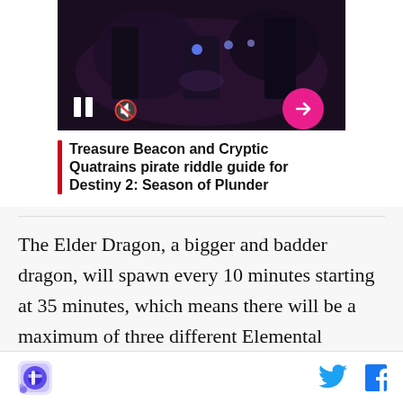[Figure (screenshot): Video thumbnail showing dark fantasy scene with characters, pause button, mute button, and pink arrow button overlay. Below thumbnail shows article title card with red bar accent.]
Treasure Beacon and Cryptic Quatrains pirate riddle guide for Destiny 2: Season of Plunder
The Elder Dragon, a bigger and badder dragon, will spawn every 10 minutes starting at 35 minutes, which means there will be a maximum of three different Elemental Dragons in each game. If you happen to get two of the same kinds of Elemental Dragon in the